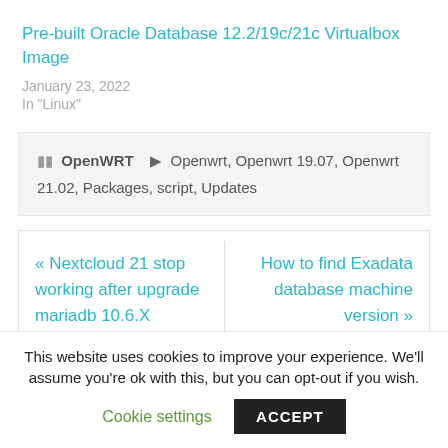Pre-built Oracle Database 12.2/19c/21c Virtualbox Image
January 23, 2022
In "Linux"
OpenWRT   Openwrt, Openwrt 19.07, Openwrt 21.02, Packages, script, Updates
« Nextcloud 21 stop working after upgrade mariadb 10.6.X
How to find Exadata database machine version »
This website uses cookies to improve your experience. We'll assume you're ok with this, but you can opt-out if you wish.
Cookie settings   ACCEPT